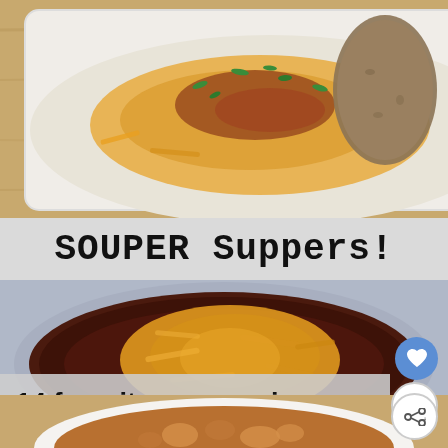[Figure (photo): Top-down photo of a white baking dish filled with creamy mashed potatoes topped with shredded cheddar cheese, crumbled bacon, and sliced green onions. A russet potato is visible in the background on a wooden surface.]
SOUPER Suppers!
[Figure (photo): Overhead photo of a large blue bowl filled with dark bean soup topped with a generous mound of shredded melted cheddar cheese.]
14 favorite soup recipes
[Figure (photo): Partial bottom photo showing a white bowl with soup containing chunky ingredients in a broth.]